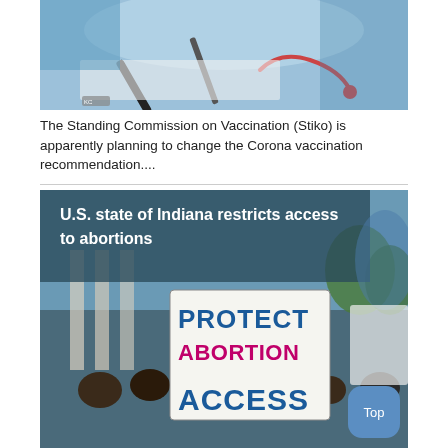[Figure (photo): Close-up photo of blue latex gloves holding a syringe/pen near medical documents and a stethoscope — vaccination-related medical imagery]
The Standing Commission on Vaccination (Stiko) is apparently planning to change the Corona vaccination recommendation....
[Figure (photo): News article image with headline 'U.S. state of Indiana restricts access to abortions' overlaid on a photo of protesters holding a 'PROTECT ABORTION ACCESS' sign outside a government building]